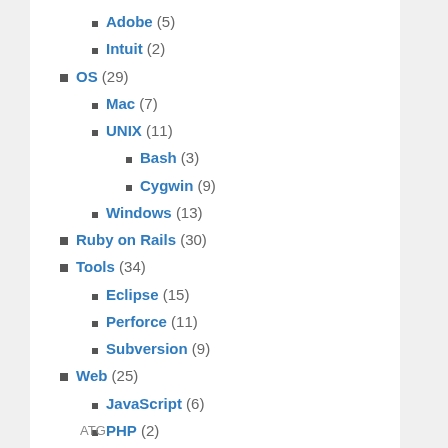Adobe (5)
Intuit (2)
OS (29)
Mac (7)
UNIX (11)
Bash (3)
Cygwin (9)
Windows (13)
Ruby on Rails (30)
Tools (34)
Eclipse (15)
Perforce (11)
Subversion (9)
Web (25)
JavaScript (6)
PHP (2)
Python (2)
Django (2)
WordPress (5)
ATG